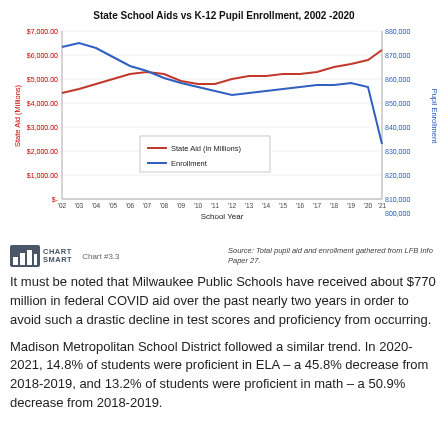[Figure (line-chart): State School Aids vs K-12 Pupil Enrollment, 2002 -2020]
Chart #3.3   Source: Total pupil aid and enrollment gathered from LFB Info Paper 27.
It must be noted that Milwaukee Public Schools have received about $770 million in federal COVID aid over the past nearly two years in order to avoid such a drastic decline in test scores and proficiency from occurring.
Madison Metropolitan School District followed a similar trend. In 2020-2021, 14.8% of students were proficient in ELA – a 45.8% decrease from 2018-2019, and 13.2% of students were proficient in math – a 50.9% decrease from 2018-2019.